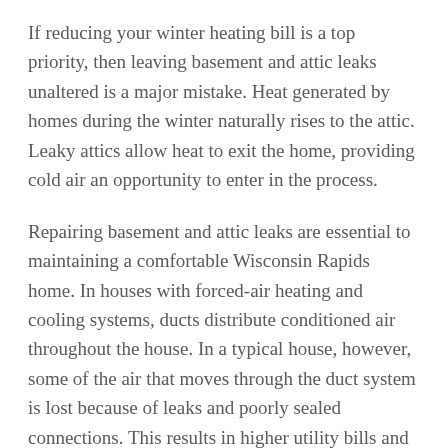If reducing your winter heating bill is a top priority, then leaving basement and attic leaks unaltered is a major mistake. Heat generated by homes during the winter naturally rises to the attic. Leaky attics allow heat to exit the home, providing cold air an opportunity to enter in the process.
Repairing basement and attic leaks are essential to maintaining a comfortable Wisconsin Rapids home. In houses with forced-air heating and cooling systems, ducts distribute conditioned air throughout the house. In a typical house, however, some of the air that moves through the duct system is lost because of leaks and poorly sealed connections. This results in higher utility bills and difficulty keeping the house comfortable; no matter how high the thermostat is set.
Since some ducts are concealed in walls and